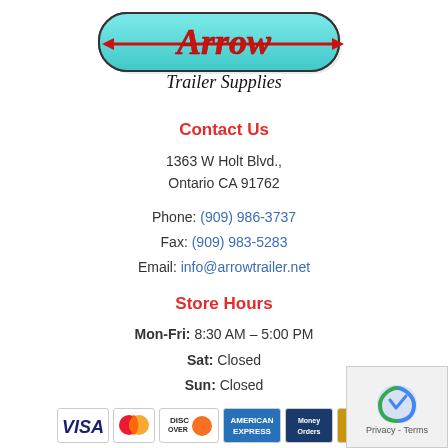[Figure (logo): Arrow Trailer Supplies logo — red script 'Arrow' text with arrow graphic on teal/cyan pill-shaped background, with 'Trailer Supplies' in black script below]
Contact Us
1363 W Holt Blvd.,
Ontario CA 91762
Phone: (909) 986-3737
Fax: (909) 983-5283
Email: info@arrowtrailer.net
Store Hours
Mon-Fri: 8:30 AM – 5:00 PM
Sat: Closed
Sun: Closed
[Figure (other): Payment method badges: VISA, MasterCard, Discover, American Express, Money Orders, Traveler's Cheques]